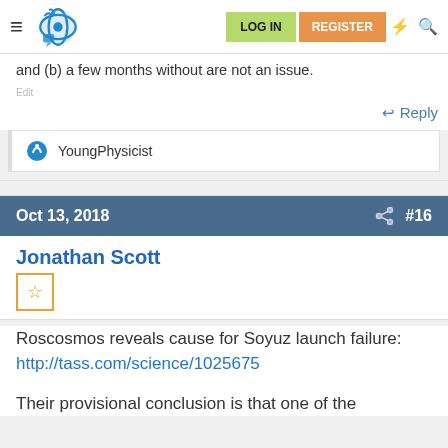LOG IN | REGISTER
and (b) a few months without are not an issue.
Reply
YoungPhysicist
Oct 13, 2018  #16
Jonathan Scott
Roscosmos reveals cause for Soyuz launch failure: http://tass.com/science/1025675
Their provisional conclusion is that one of the